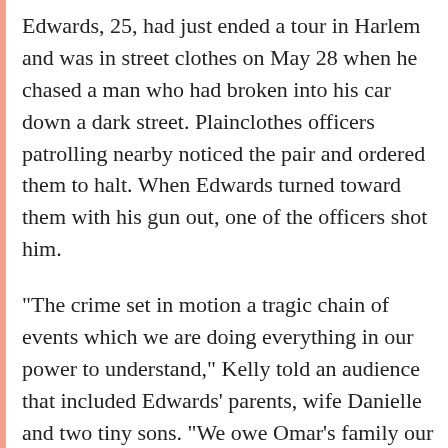Edwards, 25, had just ended a tour in Harlem and was in street clothes on May 28 when he chased a man who had broken into his car down a dark street. Plainclothes officers patrolling nearby noticed the pair and ordered them to halt. When Edwards turned toward them with his gun out, one of the officers shot him.
"The crime set in motion a tragic chain of events which we are doing everything in our power to understand," Kelly told an audience that included Edwards' parents, wife Danielle and two tiny sons. "We owe Omar's family our deepest sympathy, our everlasting loyalty."
The commissioner described the victim as a curious, steady and attentive student who thrived in the police academy. As an officer, he rooted out drugs and gained the trust of young men and